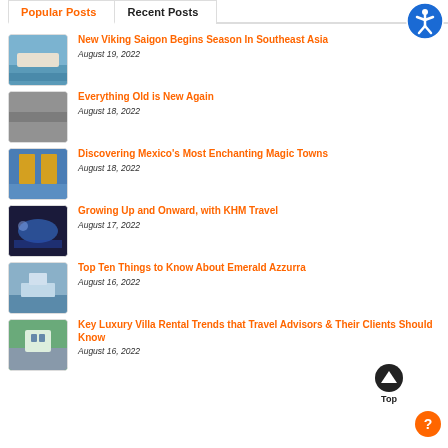Popular Posts | Recent Posts
New Viking Saigon Begins Season In Southeast Asia
August 19, 2022
Everything Old is New Again
August 18, 2022
Discovering Mexico's Most Enchanting Magic Towns
August 18, 2022
Growing Up and Onward, with KHM Travel
August 17, 2022
Top Ten Things to Know About Emerald Azzurra
August 16, 2022
Key Luxury Villa Rental Trends that Travel Advisors & Their Clients Should Know
August 16, 2022